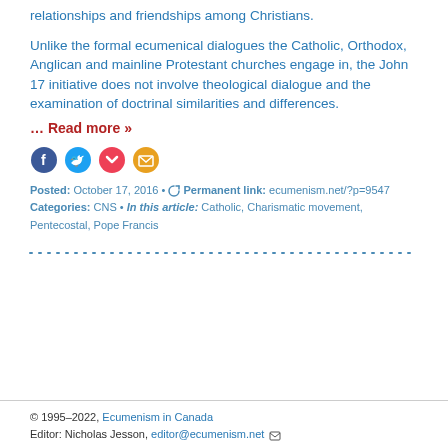relationships and friendships among Christians.
Unlike the formal ecumenical dialogues the Catholic, Orthodox, Anglican and mainline Protestant churches engage in, the John 17 initiative does not involve theological dialogue and the examination of doctrinal similarities and differences.
… Read more »
[Figure (other): Social sharing icons: Facebook, Twitter, Pocket, Email]
Posted: October 17, 2016 • Permanent link: ecumenism.net/?p=9547
Categories: CNS • In this article: Catholic, Charismatic movement, Pentecostal, Pope Francis
© 1995-2022, Ecumenism in Canada
Editor: Nicholas Jesson, editor@ecumenism.net